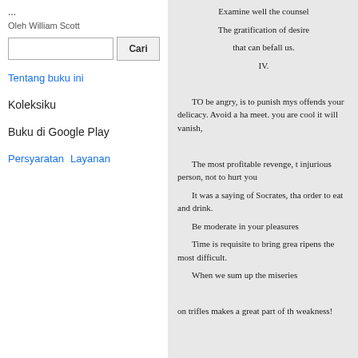...
Oleh William Scott
[search box] Cari
Tentang buku ini
Koleksiku
Buku di Google Play
Persyaratan  Layanan
Examine well the counsel
The gratification of desire
that can befall us.
IV.

TO be angry, is to punish mys offends your delicacy. Avoid a ha meet. you are cool it will vanish,

The most profitable revenge, t injurious person, not to hurt you

It was a saying of Socrates, tha order to eat and drink.

Be moderate in your pleasures

Time is requisite to bring grea ripens the most difficult.

When we sum up the miseries

on trifles makes a great part of th weakness!